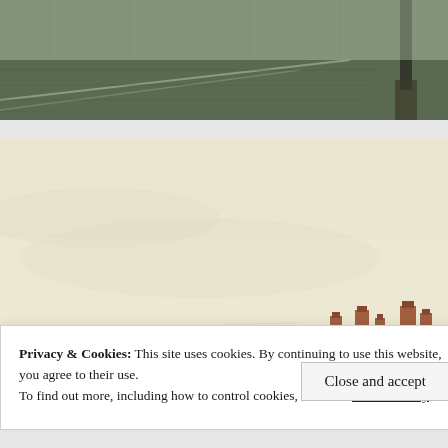[Figure (illustration): Top portion of a historical drawing or painting showing a dark, textured landscape with muted grey-green tones, diagonal lines suggesting ground or fields, and a partial dark vertical element at the right edge.]
[Figure (illustration): Bottom portion of a historical watercolour or drawing showing a very pale cream/beige sky taking up most of the image, with brick buildings and chimneys in terracotta/brown tones visible along the bottom-right edge of the composition.]
Privacy & Cookies: This site uses cookies. By continuing to use this website, you agree to their use.
To find out more, including how to control cookies, see here: Cookie Policy
Close and accept